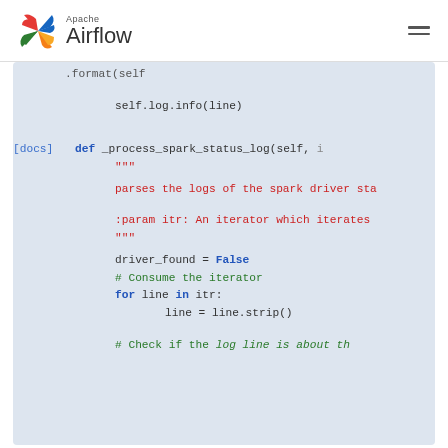Apache Airflow logo and navigation
.format(self

        self.log.info(line)


[docs]    def _process_spark_status_log(self, ...
        """
        parses the logs of the spark driver sta...

        :param itr: An iterator which iterates...
        """
        driver_found = False
        # Consume the iterator
        for line in itr:
            line = line.strip()

            # Check if the log line is about th...